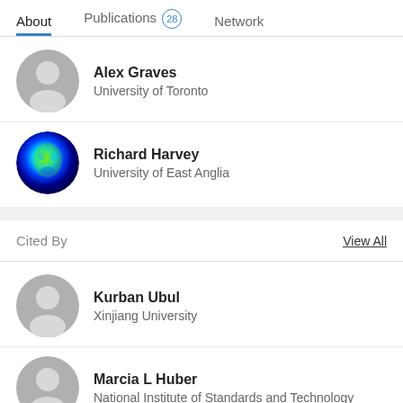About   Publications 28   Network
Alex Graves
University of Toronto
Richard Harvey
University of East Anglia
Cited By
View All
Kurban Ubul
Xinjiang University
Marcia L Huber
National Institute of Standards and Technology
Nuno Lau
University of Aveiro